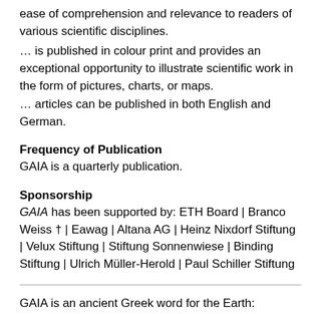ease of comprehension and relevance to readers of various scientific disciplines.
… is published in colour print and provides an exceptional opportunity to illustrate scientific work in the form of pictures, charts, or maps.
… articles can be published in both English and German.
Frequency of Publication
GAIA is a quarterly publication.
Sponsorship
GAIA has been supported by: ETH Board | Branco Weiss † | Eawag | Altana AG | Heinz Nixdorf Stiftung | Velux Stiftung | Stiftung Sonnenwiese | Binding Stiftung | Ulrich Müller-Herold | Paul Schiller Stiftung
GAIA is an ancient Greek word for the Earth:
The word Gaïa touches on a myth that affected the beginning